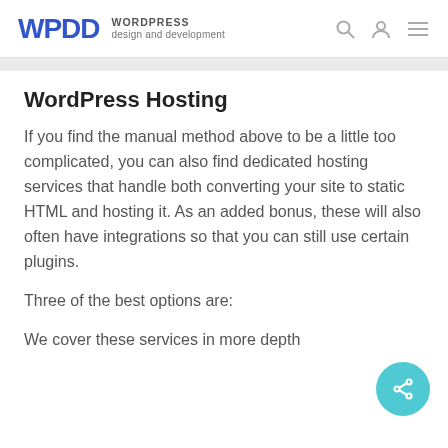WPDD WORDPRESS design and development
WordPress Hosting
If you find the manual method above to be a little too complicated, you can also find dedicated hosting services that handle both converting your site to static HTML and hosting it. As an added bonus, these will also often have integrations so that you can still use certain plugins.
Three of the best options are:
We cover these services in more depth